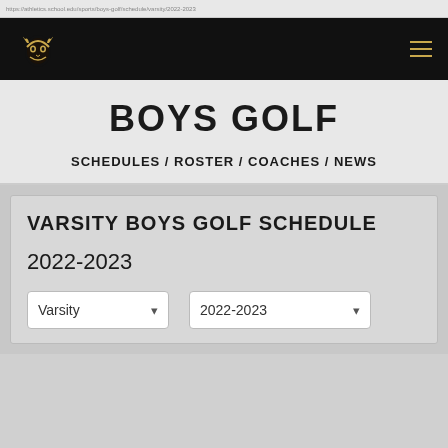browser address bar
[Figure (logo): School viking mascot logo in gold on black navigation bar with hamburger menu icon]
BOYS GOLF
SCHEDULES / ROSTER / COACHES / NEWS
VARSITY BOYS GOLF SCHEDULE
2022-2023
Varsity
2022-2023